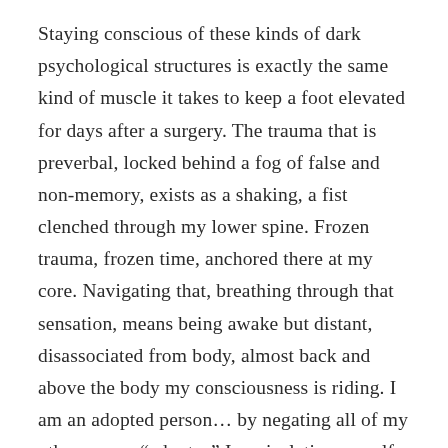Staying conscious of these kinds of dark psychological structures is exactly the same kind of muscle it takes to keep a foot elevated for days after a surgery. The trauma that is preverbal, locked behind a fog of false and non-memory, exists as a shaking, a fist clenched through my lower spine. Frozen trauma, frozen time, anchored there at my core. Navigating that, breathing through that sensation, means being awake but distant, disassociated from body, almost back and above the body my consciousness is riding. I am an adopted person… by negating all of my otherness as “adoptee” I am isolating myself within a tiny community that lacks central cohesion. As a human being, conscious of my own relative privilege, it’s inherently disturbing to think that I could swamp out more eloquent, less visible adoptees who have stridently more urgent stories to tell, seeking their histories for urgent medical needs, a kidney, perhaps,